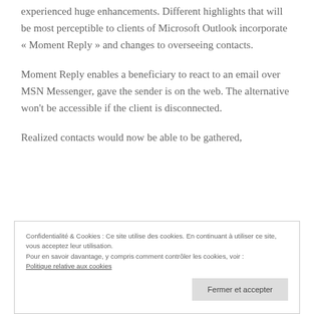experienced huge enhancements. Different highlights that will be most perceptible to clients of Microsoft Outlook incorporate « Moment Reply » and changes to overseeing contacts.
Moment Reply enables a beneficiary to react to an email over MSN Messenger, gave the sender is on the web. The alternative won't be accessible if the client is disconnected.
Realized contacts would now be able to be gathered,
Confidentialité & Cookies : Ce site utilise des cookies. En continuant à utiliser ce site, vous acceptez leur utilisation.
Pour en savoir davantage, y compris comment contrôler les cookies, voir :
Politique relative aux cookies
Fermer et accepter